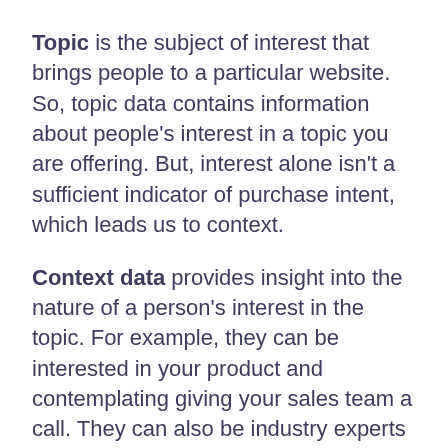Topic is the subject of interest that brings people to a particular website. So, topic data contains information about people's interest in a topic you are offering. But, interest alone isn't a sufficient indicator of purchase intent, which leads us to context.
Context data provides insight into the nature of a person's interest in the topic. For example, they can be interested in your product and contemplating giving your sales team a call. They can also be industry experts doing research for a paper on the topic.
Context data can provide general firmographic info, such as the company the visitor works for and their function. It can also reveal more personal insights, like whether they have